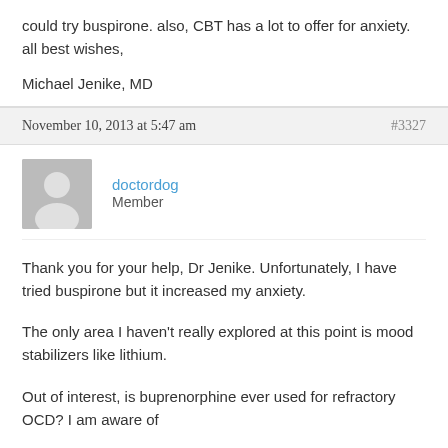could try buspirone.  also, CBT has a lot to offer for anxiety.  all best wishes,
Michael Jenike, MD
November 10, 2013 at 5:47 am
#3327
doctordog
Member
Thank you for your help, Dr Jenike. Unfortunately, I have tried buspirone but it increased my anxiety.
The only area I haven't really explored at this point is mood stabilizers like lithium.
Out of interest, is buprenorphine ever used for refractory OCD? I am aware of